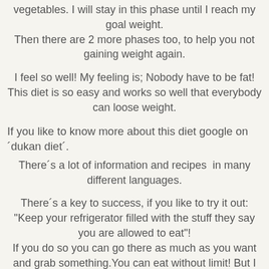vegetables. I will stay in this phase until I reach my goal weight.
Then there are 2 more phases too, to help you not gaining weight again.
I feel so well! My feeling is; Nobody have to be fat!
This diet is so easy and works so well that everybody can loose weight.
If you like to know more about this diet google on ´dukan diet´.
There´s a lot of information and recipes  in many different languages.
There´s a key to success, if you like to try it out:
"Keep your refrigerator filled with the stuff they say you are allowed to eat"!
If you do so you can go there as much as you want and grab something.You can eat without limit! But I tell you! You will eat less than before! That´s how it works for me.
If you start feeling hungry and have nothing that is "right" in your house you will probably start eating the wrong things.